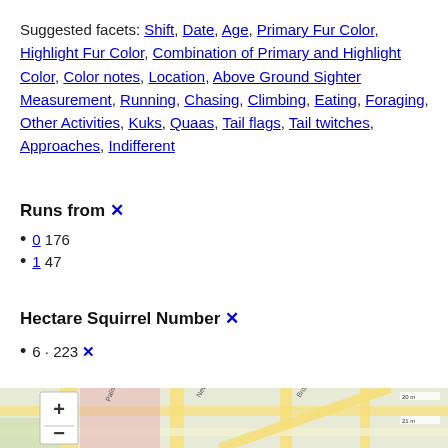Suggested facets: Shift, Date, Age, Primary Fur Color, Highlight Fur Color, Combination of Primary and Highlight Color, Color notes, Location, Above Ground Sighter Measurement, Running, Chasing, Climbing, Eating, Foraging, Other Activities, Kuks, Quaas, Tail flags, Tail twitches, Approaches, Indifferent
Runs from ✕
0 176
1 47
Hectare Squirrel Number ✕
6 · 223 ✕
[Figure (map): Street map showing part of New York City with roads, Broadway, Palisade Avenue, New York area visible, with zoom controls (+/-) in the upper left corner.]